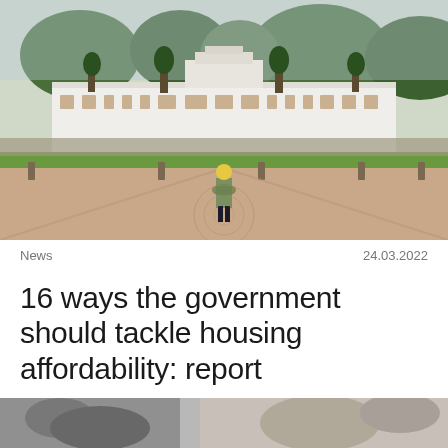[Figure (photo): Exterior view of Old Parliament House in Canberra, Australia with a person standing in the foreground on a patterned stone courtyard. Trees and green hills visible in the background.]
News
24.03.2022
16 ways the government should tackle housing affordability: report
[Figure (photo): Partially visible photo at the bottom of the page, appearing to show some animals or objects, cropped.]